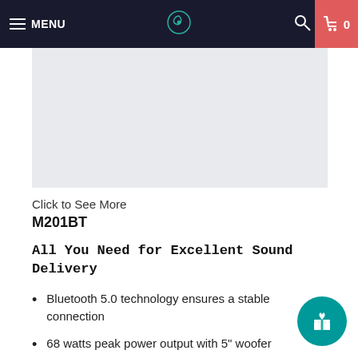MENU | [logo] | [search] | Cart 0
[Figure (photo): Product image placeholder area with light gray background]
Click to See More
M201BT
All You Need for Excellent Sound Delivery
Bluetooth 5.0 technology ensures a stable connection
68 watts peak power output with 5" woofer
100% wooden enclosure subwoofer delivers rich sound
Stand-mounted satellite speakers ideal for listening